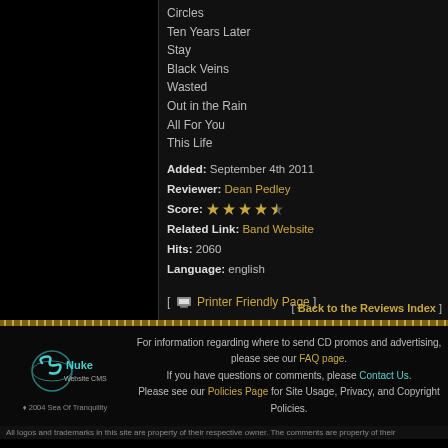Circles
Ten Years Later
Stay
Black Veins
Wasted
Out in the Rain
All For You
This Life
Added: September 4th 2011
Reviewer: Dean Pedley
Score: 4.5 stars
Related Link: Band Website
Hits: 2060
Language: english
[ Printer Friendly Page ] [ Send to a Friend ]
[ Back to the Reviews Index ]
[Figure (logo): Sea of Tranquility Nuke Website CMS logo with stylized text and diamond symbol. © 2004 Sea Of Tranquility]
For information regarding where to send CD promos and advertising, please see our FAQ page. If you have questions or comments, please Contact Us. Please see our Policies Page for Site Usage, Privacy, and Copyright Policies.
All logos and trademarks in this site are property of their respective owner. The comments are property of their